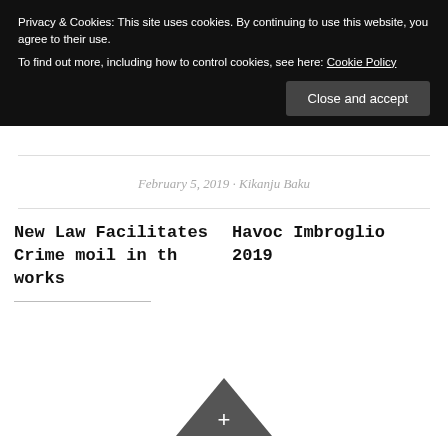Privacy & Cookies: This site uses cookies. By continuing to use this website, you agree to their use.
To find out more, including how to control cookies, see here: Cookie Policy
Close and accept
February 5, 2019 · Kikanju Baku
New Law Facilitates Crime moil in th works
Havoc Imbroglio 2019